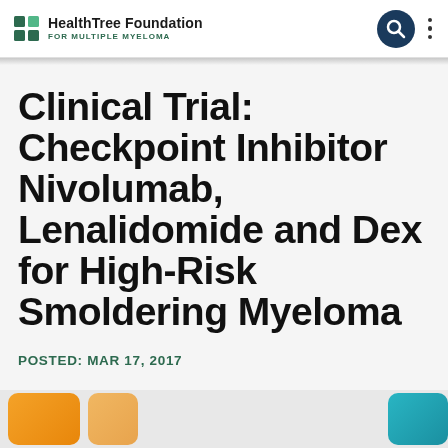HealthTree Foundation FOR MULTIPLE MYELOMA
Clinical Trial: Checkpoint Inhibitor Nivolumab, Lenalidomide and Dex for High-Risk Smoldering Myeloma
POSTED: MAR 17, 2017